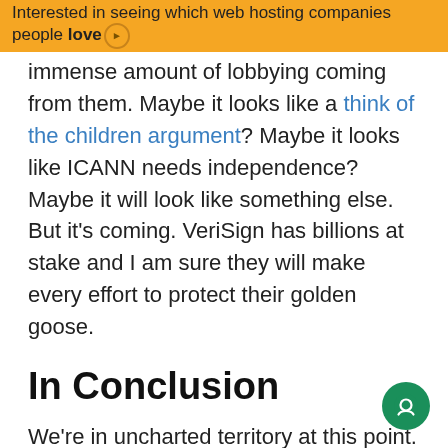Interested in seeing which web hosting companies people love
immense amount of lobbying coming from them. Maybe it looks like a think of the children argument? Maybe it looks like ICANN needs independence? Maybe it will look like something else. But it's coming. VeriSign has billions at stake and I am sure they will make every effort to protect their golden goose.
In Conclusion
We're in uncharted territory at this point. The .ORG scandal was definitely the hill to die on for people who want to see a more accountable ICANN which represents the public interest